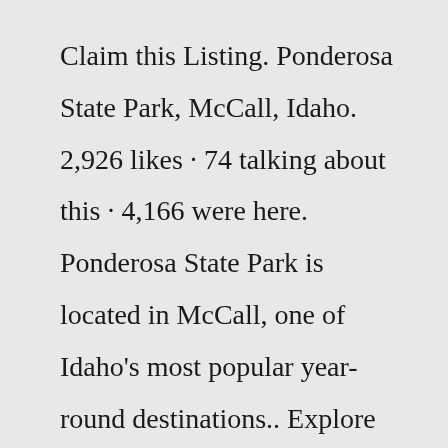Claim this Listing. Ponderosa State Park, McCall, Idaho. 2,926 likes · 74 talking about this · 4,166 were here. Ponderosa State Park is located in McCall, one of Idaho's most popular year-round destinations.. Explore Ponderosa Campground (NM) in Bandelier National Monument, New Mexico with Recreation.gov.Jan 12, 2022 · Contact the Park. Address: 1920 N Davis Ave. McCall,